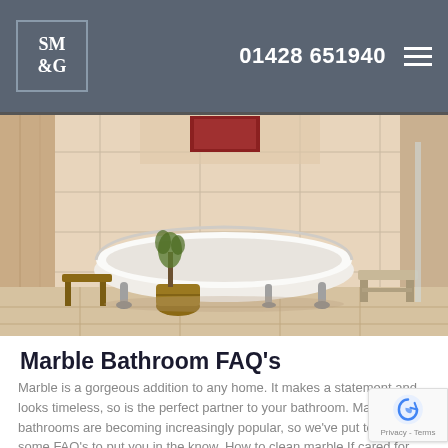SM&G | 01428 651940
[Figure (photo): Elegant marble bathroom interior with a freestanding clawfoot white bathtub in the center, marble tile walls and floor, a small wooden stool to the right, and a potted plant to the left.]
Marble Bathroom FAQ's
Marble is a gorgeous addition to any home. It makes a statement and looks timeless, so is the perfect partner to your bathroom. Marble bathrooms are becoming increasingly popular, so we've put together some FAQ's to put you in the know. How to clean marble If cared for properly, marble is a stone which will great for years to come. Being a porous material, ensure spill anything you clean it as soon as you can to avoid stains. Hot